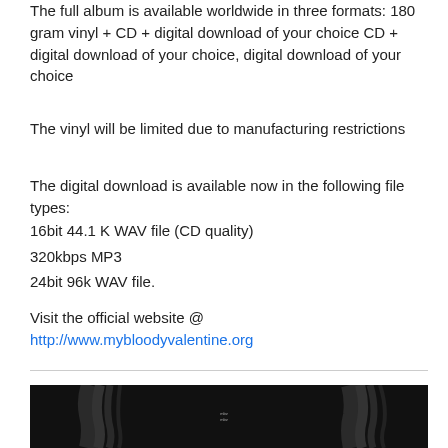The full album is available worldwide in three formats: 180 gram vinyl + CD + digital download of your choice CD + digital download of your choice, digital download of your choice
The vinyl will be limited due to manufacturing restrictions
The digital download is available now in the following file types:
16bit 44.1 K WAV file (CD quality)
320kbps MP3
24bit 96k WAV file.
Visit the official website @ http://www.mybloodyvalentine.org
[Figure (photo): Dark abstract image with wavy light patterns on black background, small white text in center]